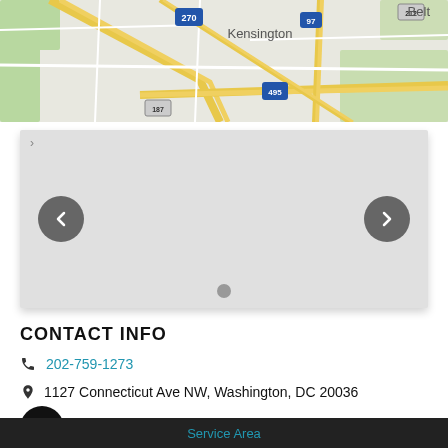[Figure (map): Google map showing Kensington area with highways 270, 97, 495, 187, 212 visible]
[Figure (screenshot): Image carousel/slider with grey background, left and right navigation arrow buttons, and a dot indicator at the bottom]
CONTACT INFO
202-759-1273
1127 Connecticut Ave NW, Washington, DC 20036
[Figure (logo): Facebook icon - circular black button with white F logo]
Service Area